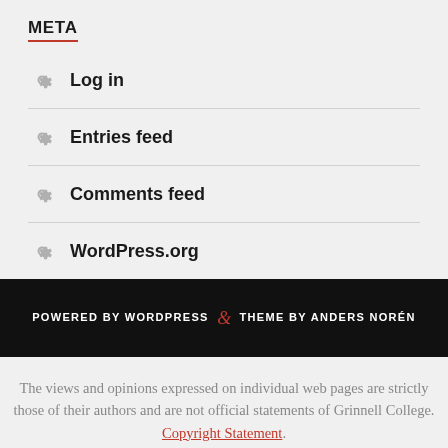META
Log in
Entries feed
Comments feed
WordPress.org
POWERED BY WORDPRESS & THEME BY ANDERS NORÉN
The views and opinions expressed on individual web pages are strictly those of their authors and are not official statements of Grinnell College. Copyright Statement.